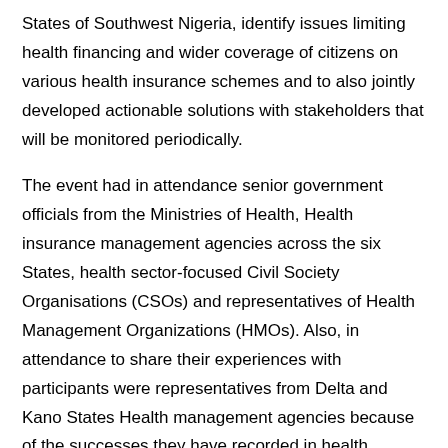States of Southwest Nigeria, identify issues limiting health financing and wider coverage of citizens on various health insurance schemes and to also jointly developed actionable solutions with stakeholders that will be monitored periodically.
The event had in attendance senior government officials from the Ministries of Health, Health insurance management agencies across the six States, health sector-focused Civil Society Organisations (CSOs) and representatives of Health Management Organizations (HMOs). Also, in attendance to share their experiences with participants were representatives from Delta and Kano States Health management agencies because of the successes they have recorded in health insurance scheme.
The current status of health insurance scheme across the